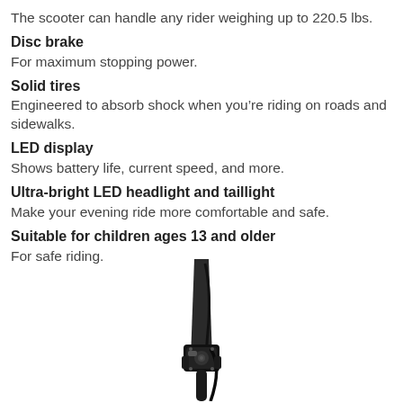The scooter can handle any rider weighing up to 220.5 lbs.
Disc brake
For maximum stopping power.
Solid tires
Engineered to absorb shock when you’re riding on roads and sidewalks.
LED display
Shows battery life, current speed, and more.
Ultra-bright LED headlight and taillight
Make your evening ride more comfortable and safe.
Suitable for children ages 13 and older
For safe riding.
[Figure (photo): Close-up photo of a black electric scooter handlebar stem and folding mechanism with cables visible]